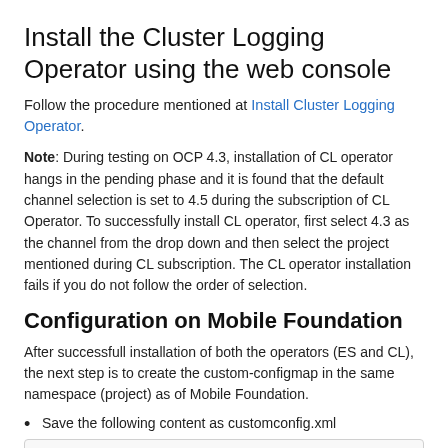Install the Cluster Logging Operator using the web console
Follow the procedure mentioned at Install Cluster Logging Operator.
Note: During testing on OCP 4.3, installation of CL operator hangs in the pending phase and it is found that the default channel selection is set to 4.5 during the subscription of CL Operator. To successfully install CL operator, first select 4.3 as the channel from the drop down and then select the project mentioned during CL subscription. The CL operator installation fails if you do not follow the order of selection.
Configuration on Mobile Foundation
After successfull installation of both the operators (ES and CL), the next step is to create the custom-configmap in the same namespace (project) as of Mobile Foundation.
Save the following content as customconfig.xml